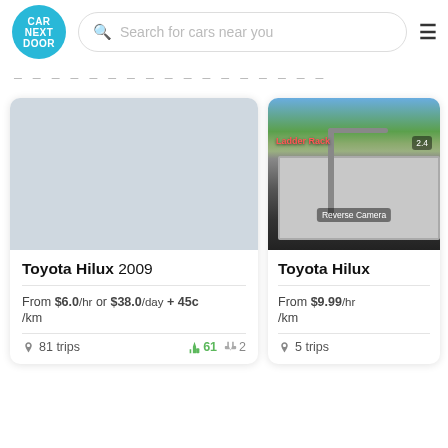CAR NEXT DOOR — Search for cars near you
[Figure (screenshot): Car listing card 1: Toyota Hilux 2009 with placeholder image, From $6.0/hr or $38.0/day + 45c/km, 81 trips, 61 thumbs up, 2 thumbs down]
[Figure (photo): Car listing card 2: Toyota Hilux (year cropped), photo showing a ute tray with ladder rack and reverse camera overlays, From $9.99/hr /km, 5 trips]